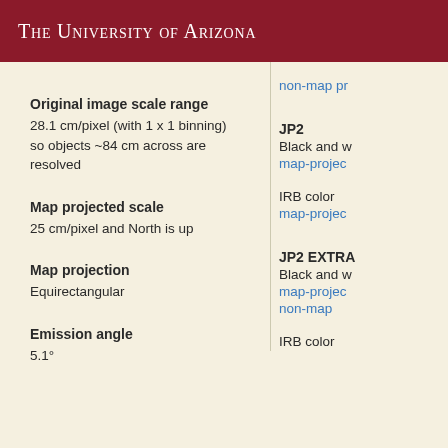The University of Arizona
Original image scale range
28.1 cm/pixel (with 1 x 1 binning) so objects ~84 cm across are resolved
Map projected scale
25 cm/pixel and North is up
Map projection
Equirectangular
Emission angle
5.1°
non-map pr
JP2
Black and w
map-projec
IRB color
map-projec
JP2 EXTRA
Black and w
map-projec
non-map
IRB color